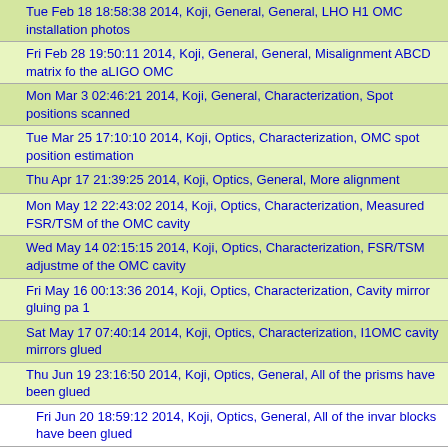Tue Feb 18 18:58:38 2014, Koji, General, General, LHO H1 OMC installation photos
Fri Feb 28 19:50:11 2014, Koji, General, General, Misalignment ABCD matrix for the aLIGO OMC
Mon Mar 3 02:46:21 2014, Koji, General, Characterization, Spot positions scanned
Tue Mar 25 17:10:10 2014, Koji, Optics, Characterization, OMC spot position estimation
Thu Apr 17 21:39:25 2014, Koji, Optics, General, More alignment
Mon May 12 22:43:02 2014, Koji, Optics, Characterization, Measured FSR/TSM of the OMC cavity
Wed May 14 02:15:15 2014, Koji, Optics, Characterization, FSR/TSM adjustment of the OMC cavity
Fri May 16 00:13:36 2014, Koji, Optics, Characterization, Cavity mirror gluing pa 1
Sat May 17 07:40:14 2014, Koji, Optics, Characterization, I1OMC cavity mirrors glued
Thu Jun 19 23:16:50 2014, Koji, Optics, General, All of the prisms have been glued
Fri Jun 20 18:59:12 2014, Koji, Optics, General, All of the invar blocks have been glued
Mon Jun 23 21:54:16 2014, Koji, Optics, General, All of the gluing complete
Fri Jun 27 18:51:33 2014, Koji, General, General, Supply